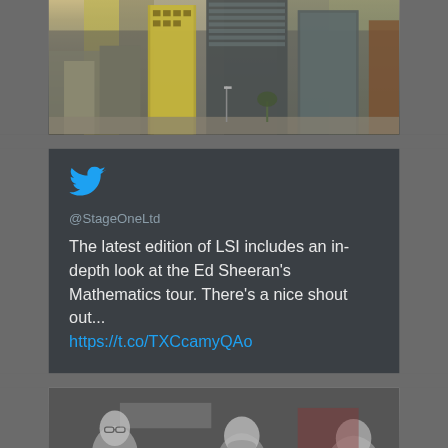[Figure (photo): Photograph of modern city buildings including a yellow-paneled tower and glass skyscrapers]
[Figure (screenshot): Twitter/social media card from @StageOneLtd with Twitter bird logo, handle @StageOneLtd, tweet text: 'The latest edition of LSI includes an in-depth look at the Ed Sheeran's Mathematics tour. There's a nice shout out... https://t.co/TXCcamyQAo']
[Figure (photo): Photo of people in a meeting room or conference setting with text overlay reading 'Behind The']